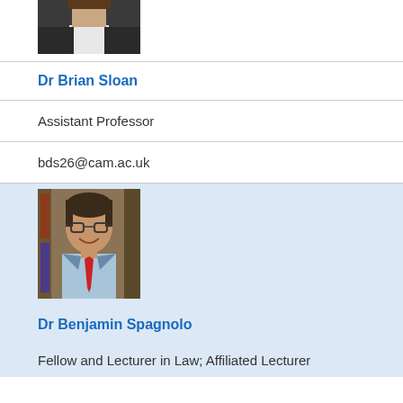[Figure (photo): Partial photo of Dr Brian Sloan, showing shoulders/chest in dark jacket]
Dr Brian Sloan
Assistant Professor
bds26@cam.ac.uk
[Figure (photo): Photo of Dr Benjamin Spagnolo, smiling man with glasses, red tie, light blue shirt, bookshelves in background]
Dr Benjamin Spagnolo
Fellow and Lecturer in Law; Affiliated Lecturer